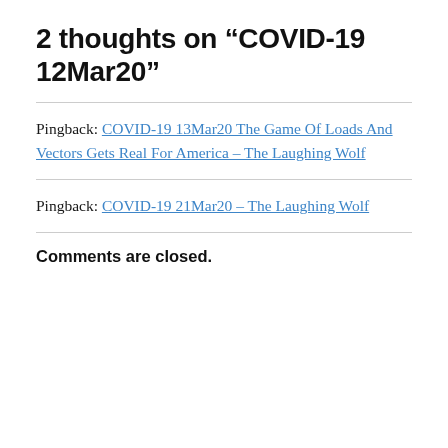2 thoughts on “COVID-19 12Mar20”
Pingback: COVID-19 13Mar20 The Game Of Loads And Vectors Gets Real For America – The Laughing Wolf
Pingback: COVID-19 21Mar20 – The Laughing Wolf
Comments are closed.